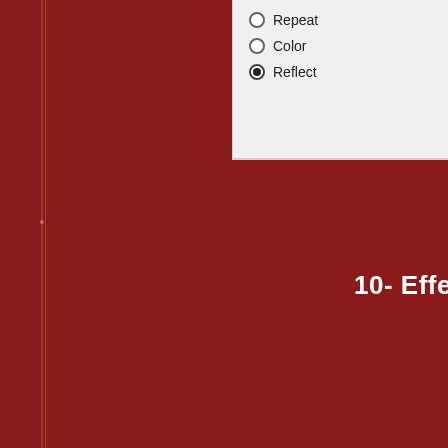[Figure (screenshot): Dark red background panel with two vertical accent lines on the left side]
[Figure (screenshot): Top-right UI panel showing radio button options: Repeat (unchecked), Color (unchecked), Reflect (checked/selected)]
10- Effects > In
[Figure (screenshot): Software dialog window with blue title bar, Preview section, Settings section, Offset subsection with Horizontal offset spinner set to 0, and Edge mode section with radio buttons: Wrap, Repeat, Color]